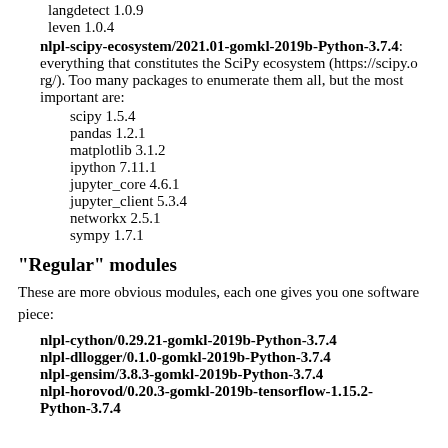langdetect 1.0.9
leven 1.0.4
nlpl-scipy-ecosystem/2021.01-gomkl-2019b-Python-3.7.4: everything that constitutes the SciPy ecosystem (https://scipy.org/). Too many packages to enumerate them all, but the most important are:
scipy 1.5.4
pandas 1.2.1
matplotlib 3.1.2
ipython 7.11.1
jupyter_core 4.6.1
jupyter_client 5.3.4
networkx 2.5.1
sympy 1.7.1
"Regular" modules
These are more obvious modules, each one gives you one software piece:
nlpl-cython/0.29.21-gomkl-2019b-Python-3.7.4
nlpl-dllogger/0.1.0-gomkl-2019b-Python-3.7.4
nlpl-gensim/3.8.3-gomkl-2019b-Python-3.7.4
nlpl-horovod/0.20.3-gomkl-2019b-tensorflow-1.15.2-Python-3.7.4